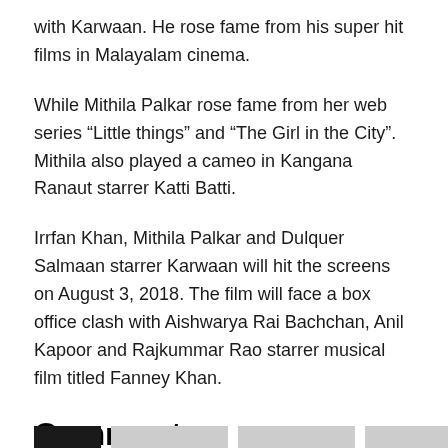with Karwaan. He rose fame from his super hit films in Malayalam cinema.
While Mithila Palkar rose fame from her web series “Little things” and “The Girl in the City”. Mithila also played a cameo in Kangana Ranaut starrer Katti Batti.
Irrfan Khan, Mithila Palkar and Dulquer Salmaan starrer Karwaan will hit the screens on August 3, 2018. The film will face a box office clash with Aishwarya Rai Bachchan, Anil Kapoor and Rajkummar Rao starrer musical film titled Fanney Khan.
Comments
comments